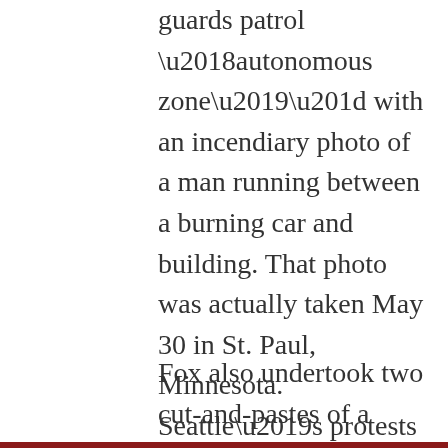guards patrol ‘autonomous zone’” with an incendiary photo of a man running between a burning car and building. That photo was actually taken May 30 in St. Paul, Minnesota. Seattle’s protests have produced no such blazes.
Fox also undertook two cut-and-pastes of a photo of a young sentinel standing